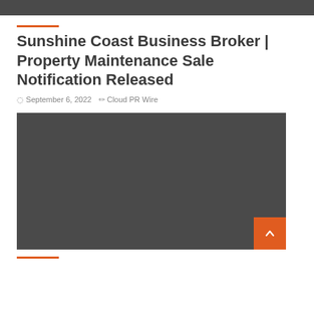Sunshine Coast Business Broker | Property Maintenance Sale Notification Released
September 6, 2022   Cloud PR Wire
[Figure (photo): Dark gray image placeholder with an orange scroll-to-top button in the bottom right corner]